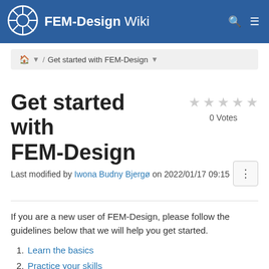FEM-Design Wiki
Get started with FEM-Design
Get started with FEM-Design
Last modified by Iwona Budny Bjergø on 2022/01/17 09:15
If you are a new user of FEM-Design, please follow the guidelines below that we will help you get started.
Learn the basics
Practice your skills